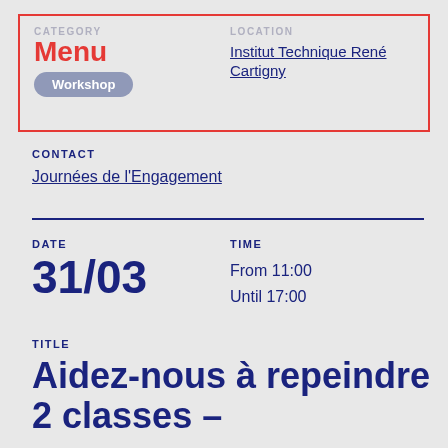CATEGORY
Menu
Workshop
LOCATION
Institut Technique René Cartigny
CONTACT
Journées de l'Engagement
DATE
31/03
TIME
From 11:00
Until 17:00
TITLE
Aidez-nous à repeindre 2 classes –